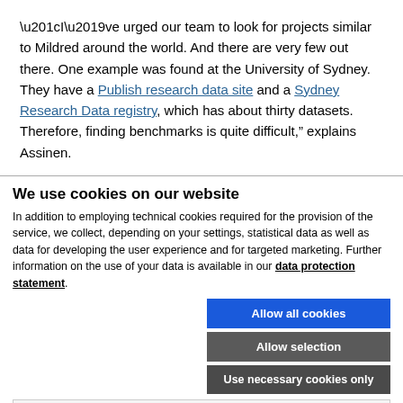“I’ve urged our team to look for projects similar to Mildred around the world. And there are very few out there. One example was found at the University of Sydney. They have a Publish research data site and a Sydney Research Data registry, which has about thirty datasets. Therefore, finding benchmarks is quite difficult,” explains Assinen.
We use cookies on our website
In addition to employing technical cookies required for the provision of the service, we collect, depending on your settings, statistical data as well as data for developing the user experience and for targeted marketing. Further information on the use of your data is available in our data protection statement.
[Figure (other): Cookie consent buttons: 'Allow all cookies' (blue), 'Allow selection' (gray), 'Use necessary cookies only' (dark gray)]
Necessary technical cookies [checked] | Functional cookies [unchecked] | Show details
Statistics cookies [unchecked] | Marketing cookies [unchecked]